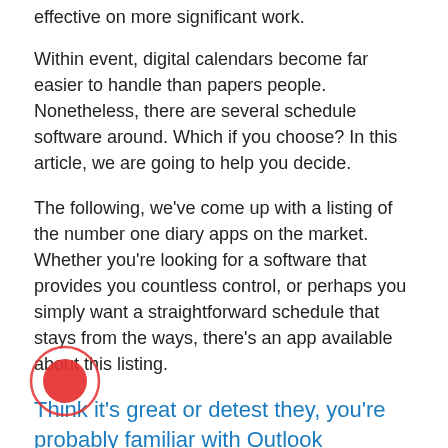effective on more significant work.
Within event, digital calendars become far easier to handle than papers people. Nonetheless, there are several schedule software around. Which if you choose? In this article, we are going to help you decide.
The following, we've come up with a listing of the number one diary apps on the market. Whether you're looking for a software that provides you countless control, or perhaps you simply want a straightforward schedule that stays from the ways, there's an app available about this listing.
Think it's great or detest they, you're probably familiar with Outlook schedule
Google Calendar is an excellent cross-platform schedule software. This is the default schedule on Android mobile phones, plus it is very effective on iPhones. Its simple to build brand-new events whether you are on the cellphone